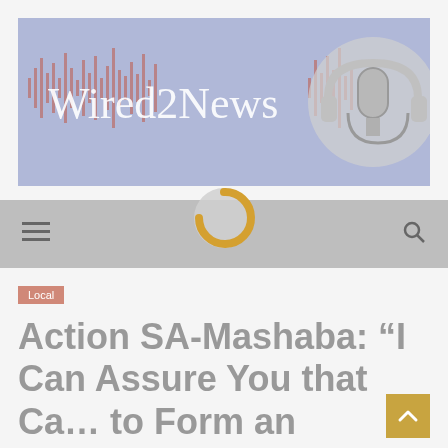[Figure (logo): Wired2News website header banner with purple/lavender background, red audio waveform graphic, 'Wired2News' text in white serif font, and a microphone/headphones image on the right]
[Figure (other): Navigation bar with hamburger menu icon on left, circular logo with gold arc in center, and search icon on right, on grey background]
Local
Action SA-Mashaba: “I Can Assure You that Ca… to Form an Alliance with